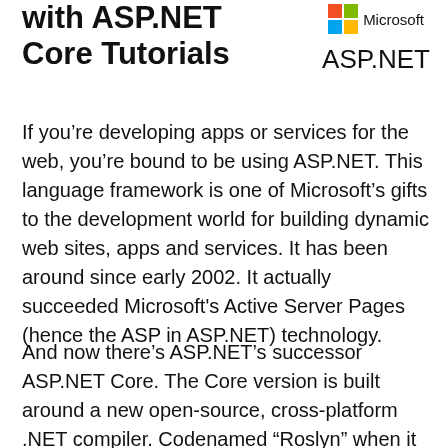with ASP.NET Core Tutorials
[Figure (logo): Microsoft logo with four colored squares (red, green, blue, yellow) followed by the word Microsoft, and below it ASP.NET in large text]
If you're developing apps or services for the web, you're bound to be using ASP.NET. This language framework is one of Microsoft's gifts to the development world for building dynamic web sites, apps and services. It has been around since early 2002. It actually succeeded Microsoft's Active Server Pages (hence the ASP in ASP.NET) technology.
And now there's ASP.NET's successor ASP.NET Core. The Core version is built around a new open-source, cross-platform .NET compiler. Codenamed “Roslyn” when it was under